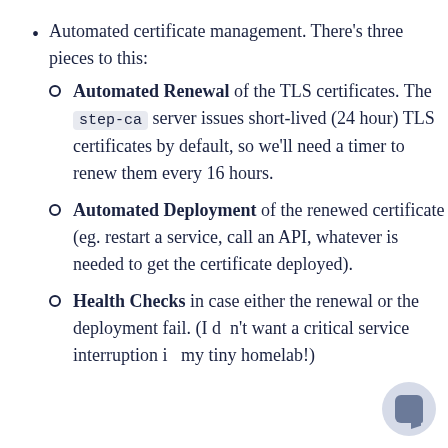Automated certificate management. There's three pieces to this:
Automated Renewal of the TLS certificates. The step-ca server issues short-lived (24 hour) TLS certificates by default, so we'll need a timer to renew them every 16 hours.
Automated Deployment of the renewed certificate (eg. restart a service, call an API, whatever is needed to get the certificate deployed).
Health Checks in case either the renewal or the deployment fail. (I don't want a critical service interruption in my tiny homelab!)